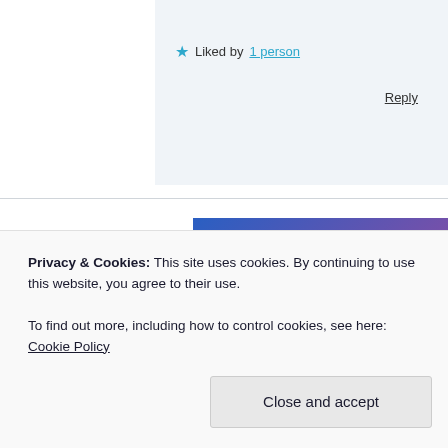★ Liked by 1 person
Reply
[Figure (screenshot): Advertisement banner with blue-purple gradient background showing text 'Simplified pricing fo... everything you nee...' with a pink 'Build Your Website' button and a price tag illustration]
Privacy & Cookies: This site uses cookies. By continuing to use this website, you agree to their use.
To find out more, including how to control cookies, see here: Cookie Policy
Close and accept